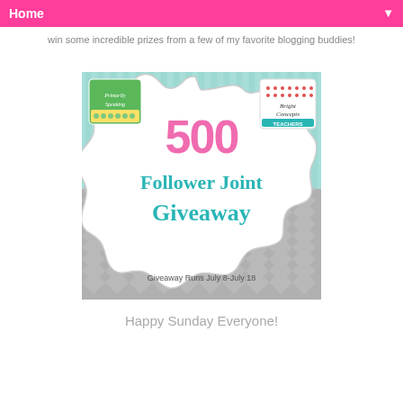Home ▼
win some incredible prizes from a few of my favorite blogging buddies!
[Figure (illustration): 500 Follower Joint Giveaway banner image with teal stripes, grey chevron pattern, pink and teal text, logos for 'Primarily Speaking' and 'Bright Concepts 4 Teachers', text reads 'Giveaway Runs July 8-July 18']
Happy Sunday Everyone!